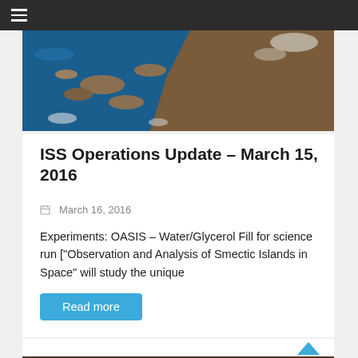≡
[Figure (photo): Aerial/satellite view of coastline and islands from space, showing blue ocean water and brown/tan landmasses]
ISS Operations Update – March 15, 2016
March 16, 2016
Experiments: OASIS – Water/Glycerol Fill for science run ["Observation and Analysis of Smectic Islands in Space" will study the unique
Read more
[Figure (photo): Bottom partial strip showing what appears to be a nature/wildlife scene]